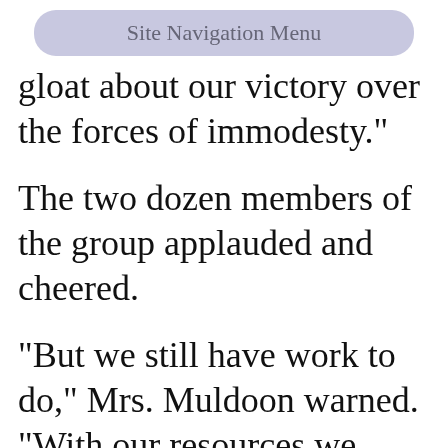Site Navigation Menu
gloat about our victory over the forces of immodesty."
The two dozen members of the group applauded and cheered.
"But we still have work to do," Mrs. Muldoon warned. "With our resources we need to chose our battles carefully. I've